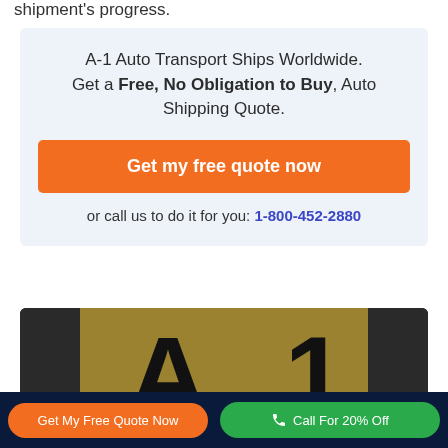shipment's progress.
A-1 Auto Transport Ships Worldwide. Get a Free, No Obligation to Buy, Auto Shipping Quote.
Get my free quote now
or call us to do it for you: 1-800-452-2880
[Figure (screenshot): Video thumbnail showing A1 Auto Transport logo (gold background with large black A1 letters) with 'Watch Video' text overlay]
Get My Free Quote Now
Call For 20% Off